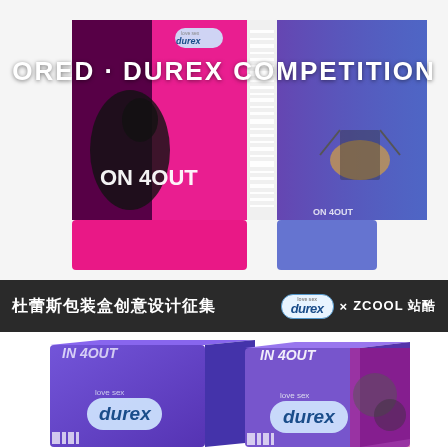[Figure (illustration): Durex packaging flat layout/dieline in pink, magenta, and blue tones with 'ON 4OUT' text and artistic imagery on left panel, barcode strip in center, and scene with character on right panel. White background surrounds the dieline.]
[Figure (illustration): Dark banner with Chinese text '杜蕾斯包装盒创意设计征集' on left, and Durex x ZCOOL站酷 logos on right.]
[Figure (illustration): Two Durex branded product boxes shown at bottom: left box in blue/purple gradient with 'love sex / durex' branding and 'IN 4OUT' text on top; right box with pink/magenta and dark tones, also 'love sex / durex' branding.]